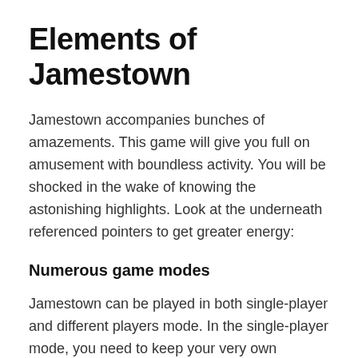Elements of Jamestown
Jamestown accompanies bunches of amazements. This game will give you full on amusement with boundless activity. You will be shocked in the wake of knowing the astonishing highlights. Look at the underneath referenced pointers to get greater energy:
Numerous game modes
Jamestown can be played in both single-player and different players mode. In the single-player mode, you need to keep your very own